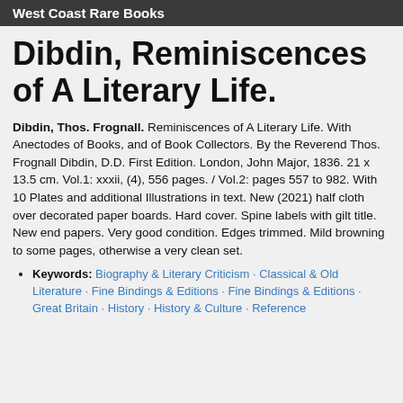West Coast Rare Books
Dibdin, Reminiscences of A Literary Life.
Dibdin, Thos. Frognall. Reminiscences of A Literary Life. With Anectodes of Books, and of Book Collectors. By the Reverend Thos. Frognall Dibdin, D.D. First Edition. London, John Major, 1836. 21 x 13.5 cm. Vol.1: xxxii, (4), 556 pages. / Vol.2: pages 557 to 982. With 10 Plates and additional Illustrations in text. New (2021) half cloth over decorated paper boards. Hard cover. Spine labels with gilt title. New end papers. Very good condition. Edges trimmed. Mild browning to some pages, otherwise a very clean set.
Keywords: Biography & Literary Criticism · Classical & Old Literature · Fine Bindings & Editions · Fine Bindings & Editions · Great Britain · History · History & Culture · Reference